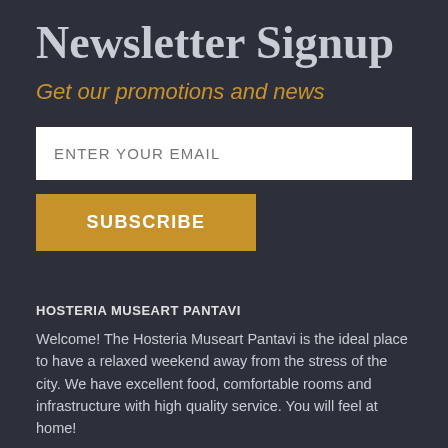Newsletter Signup
Get our promotions and news
ENTER YOUR EMAIL
SUBSCRIBE
HOSTERIA MUSEART PANTAVI
Welcome! The Hosteria Museart Pantavi is the ideal place to have a relaxed weekend away from the stress of the city. We have excellent food, comfortable rooms and infrastructure with high quality service. You will feel at home!
Km. 7 en la via Salinas Tumbabiro, Provincia Imbabura, Ecuador